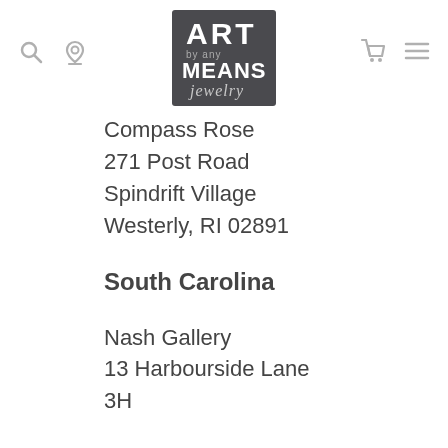ART by any MEANS jewelry [logo]
Compass Rose
271 Post Road
Spindrift Village
Westerly, RI 02891
South Carolina
Nash Gallery
13 Harbourside Lane
3H...